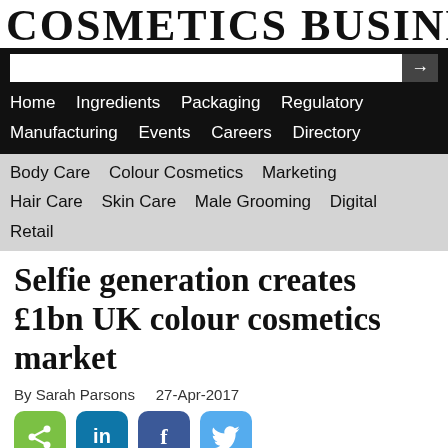COSMETICS BUSINESS
[Figure (screenshot): Navigation bar with search box and menu links: Home, Ingredients, Packaging, Regulatory, Manufacturing, Events, Careers, Directory on black background; Body Care, Colour Cosmetics, Marketing, Hair Care, Skin Care, Male Grooming, Digital, Retail on grey background]
Selfie generation creates £1bn UK colour cosmetics market
By Sarah Parsons    27-Apr-2017
[Figure (infographic): Social share buttons: green share icon, blue LinkedIn, dark blue Facebook, light blue Twitter]